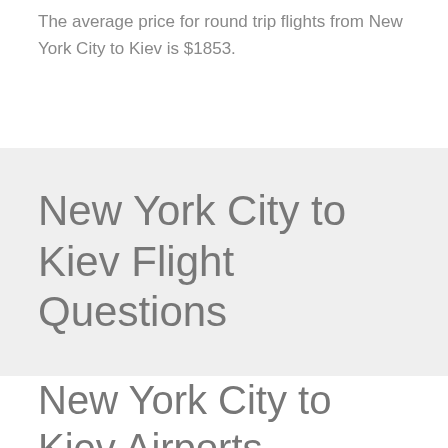The average price for round trip flights from New York City to Kiev is $1853.
New York City to Kiev Flight Questions
New York City to Kiev Airports
These are the major commercial airports we're